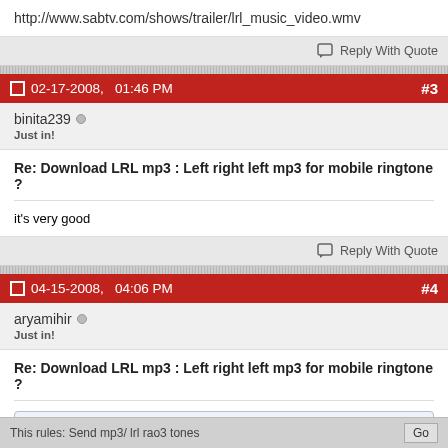http://www.sabtv.com/shows/trailer/lrl_music_video.wmv
Reply With Quote
02-17-2008, 01:46 PM #3
binita239
Just in!
Re: Download LRL mp3 : Left right left mp3 for mobile ringtone ?
it's very good
Reply With Quote
04-15-2008, 04:06 PM #4
aryamihir
Just in!
Re: Download LRL mp3 : Left right left mp3 for mobile ringtone ?
Originally Posted by Neeraj97
Send mp3/ lrl rao3 tones